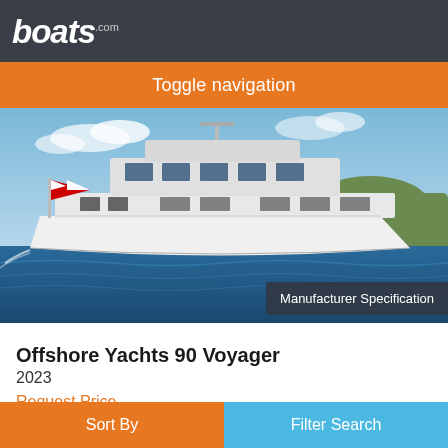boats.com
Toggle navigation
[Figure (photo): A large white motor yacht (Offshore Yachts 90 Voyager) on blue water with an American flag at the stern, rocky green shoreline in background, clear blue sky.]
Manufacturer Specification
Offshore Yachts 90 Voyager
2023
Request Price
As the flagship of our model line the Voyager is the culmination of our
Sort By    Filter Search